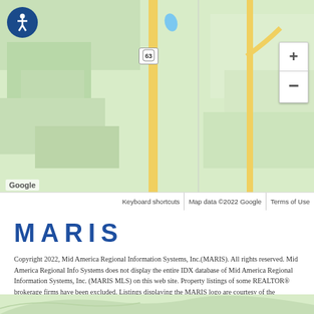[Figure (map): Google Maps view showing a rural area with Route 63 highway, yellow roads, green terrain, and map controls including zoom in/out buttons and accessibility icon. Bottom bar shows 'Google', 'Keyboard shortcuts', 'Map data ©2022 Google', 'Terms of Use'.]
MARIS
Copyright 2022, Mid America Regional Information Systems, Inc.(MARIS). All rights reserved. Mid America Regional Info Systems does not display the entire IDX database of Mid America Regional Information Systems, Inc. (MARIS MLS) on this web site. Property listings of some REALTOR® brokerage firms have been excluded. Listings displaying the MARIS logo are courtesy of the participants of Mid America Regional Information Systems Internet Data Exchange. Information provided deemed to be reliable but is not guaranteed to be accurate. Buyers are advised to verify all facts before making a decision on purchasing a property. No warranties, expressed or implied, are provided for the data herein, or for their use or interpretation by the user. Mid America Regional information Systems, Inc. (MARIS) will not be held responsibility for the content of such records.
[Figure (map): Bottom portion of a map showing green terrain.]